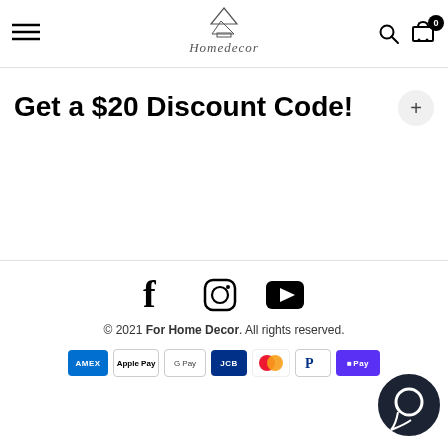Homedecor — navigation header with menu, logo, search, and cart (0 items)
Get a $20 Discount Code!
Social icons: Facebook, Instagram, YouTube. © 2021 For Home Decor. All rights reserved. Payment methods: AMEX, Apple Pay, Google Pay, JCB, Mastercard, PayPal, OPay.